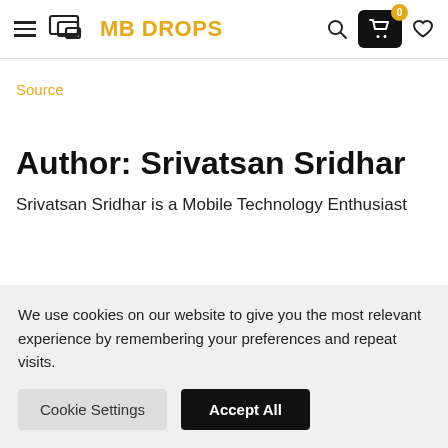MB DROPS
Source
Author: Srivatsan Sridhar
Srivatsan Sridhar is a Mobile Technology Enthusiast
We use cookies on our website to give you the most relevant experience by remembering your preferences and repeat visits.
Cookie Settings | Accept All